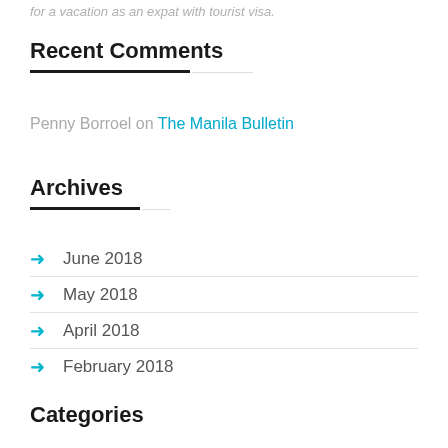for a vacation as an expat with tourist visa.
Recent Comments
Penny Borroel on The Manila Bulletin
Archives
June 2018
May 2018
April 2018
February 2018
Categories